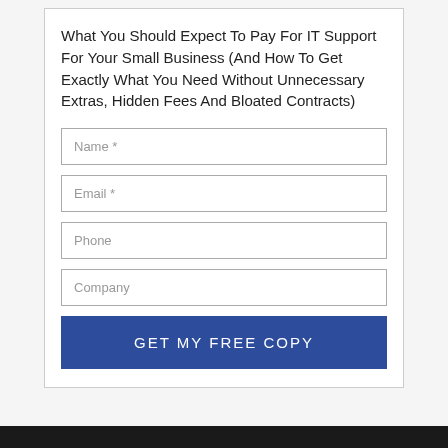What You Should Expect To Pay For IT Support For Your Small Business (And How To Get Exactly What You Need Without Unnecessary Extras, Hidden Fees And Bloated Contracts)
Name *
Email *
Phone
Company
GET MY FREE COPY
Contact
Dependable IT Support
539 Broadway